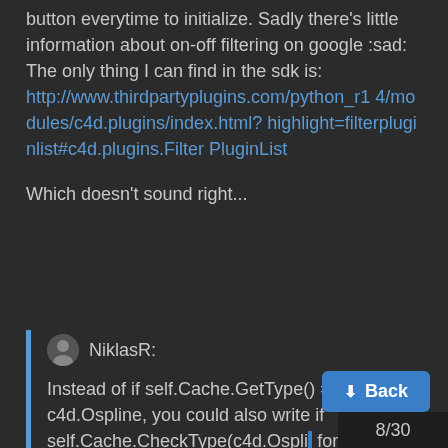button everytime to initialize. Sadly there's little information about on-off filtering on google :sad: The only thing I can find in the sdk is:
http://www.thirdpartyplugins.com/python_r14/modules/c4d.plugins/index.html?highlight=filterpluginlist#c4d.plugins.FilterPluginList
Which doesn't sound right...
NiklasR:
Instead of if self.Cache.GetType() == c4d.Ospline, you could also write if self.Cache.CheckType(c4d.Ospli... for the type-checking, the isinstance function is usually the better
Back
8/30